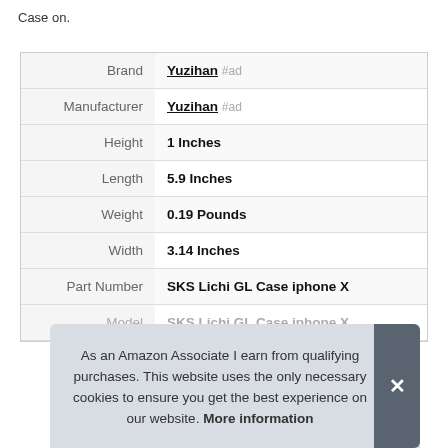Case on.
|  |  |
| --- | --- |
| Brand | Yuzihan #ad |
| Manufacturer | Yuzihan #ad |
| Height | 1 Inches |
| Length | 5.9 Inches |
| Weight | 0.19 Pounds |
| Width | 3.14 Inches |
| Part Number | SKS Lichi GL Case iphone X |
| Model | SKS Lichi GL Case iphone X |
As an Amazon Associate I earn from qualifying purchases. This website uses the only necessary cookies to ensure you get the best experience on our website. More information